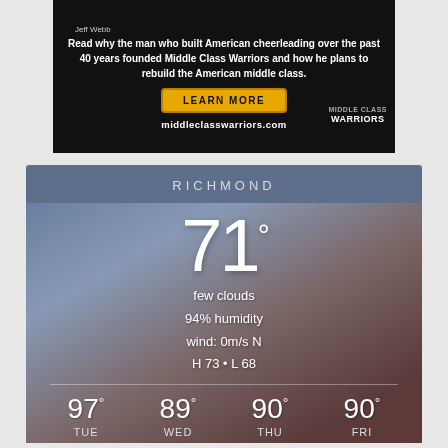[Figure (other): Advertisement banner for Middle Class Warriors by Jeff Webb. Dark background with text promoting the book and a yellow 'LEARN MORE' button. Shows middleclasswarriors.com URL.]
[Figure (infographic): Weather widget for Richmond showing current temperature of 71 degrees, few clouds, 94% humidity, wind 0m/s N, H 73 L 68. Forecast: TUE 97, WED 89, THU 90, FRI 90 degrees. Background shows blurred city skyline.]